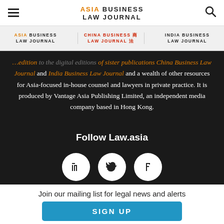ASIA BUSINESS LAW JOURNAL
[Figure (logo): Asia Business Law Journal logo, China Business Law Journal logo, India Business Law Journal logo in sub-navigation bar]
Business Law Journal and India Business Law Journal and a wealth of other resources for Asia-focused in-house counsel and lawyers in private practice. It is produced by Vantage Asia Publishing Limited, an independent media company based in Hong Kong.
Follow Law.asia
[Figure (infographic): Three social media icons: LinkedIn, Twitter, Facebook — white circles on dark background]
Join our mailing list for legal news and alerts
SIGN UP